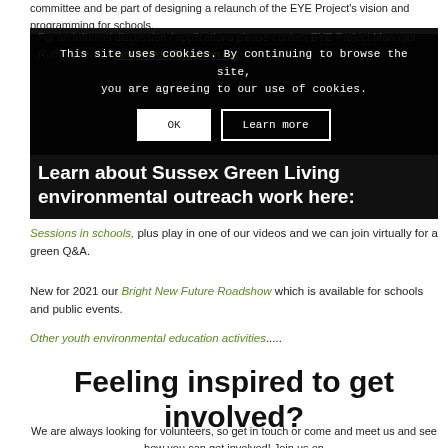committee and be part of designing a relaunch of the EYE Project's vision and programming for schools.
For an informal discussion / applications please contact EYE Project Manager Ruth Pineda at ruth.pineda@brighton.net
This site uses cookies. By continuing to browse the site, you are agreeing to our use of cookies.
Learn about Sussex Green Living environmental outreach work here:
Sessions in schools, plus play in one of our videos and we can join virtually for a green Q&A.
New for 2021 our Bright New Future Roadshow which is available for schools and public events.
Other youth environmental education activities.....
Feeling inspired to get involved?
We are always looking for volunteers, so get in touch or come and meet us and see how you can get involved! Join us on